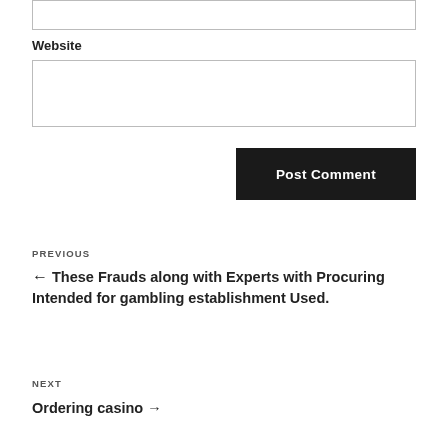[input box top]
Website
[website input box]
Post Comment
PREVIOUS
← These Frauds along with Experts with Procuring Intended for gambling establishment Used.
NEXT
Ordering casino →